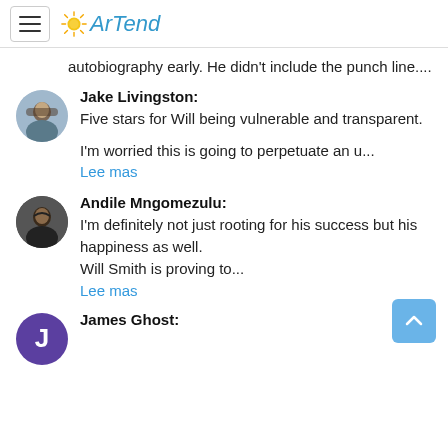ArTend
autobiography early. He didn't include the punch line....
Jake Livingston:
Five stars for Will being vulnerable and transparent.

I'm worried this is going to perpetuate an u...
Lee mas
Andile Mngomezulu:
I'm definitely not just rooting for his success but his happiness as well.
Will Smith is proving to...
Lee mas
James Ghost: